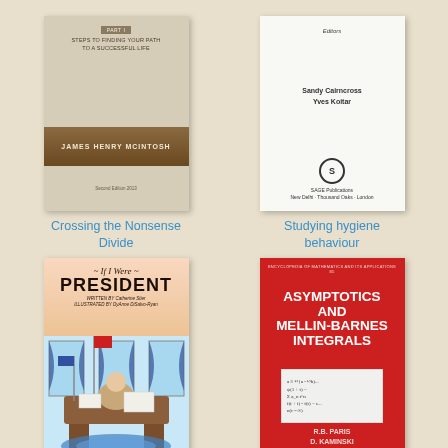[Figure (illustration): Book cover of 'Crossing the Nonsense Divide' by James Henry McIntosh, beige/brown color scheme with author name in gold band]
[Figure (illustration): Book cover of 'Studying hygiene behaviour', white cover with editors Sandy Cairncross and Yves Kotilar, SAGE Publications logo]
Crossing the Nonsense Divide
Studying hygiene behaviour
[Figure (illustration): Book cover of 'If I Were President' written by Catherine Stier, illustrated by DyAnne DiSalvo-Ryan, colorful children's book cover showing child at president's desk]
[Figure (illustration): Book cover of 'Asymptotics and Mellin-Barnes Integrals' (Encyclopedia of Mathematics and its Applications) by R.B. Paris and D. Kaminski, red cover with white bold title and formula box]
If I were president
Asymptotics and Mellin-Barnes Integrals (Encyclopedia of